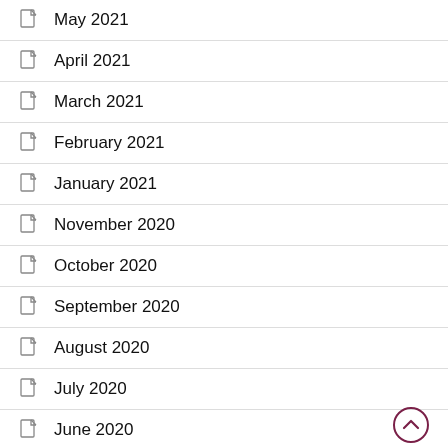May 2021
April 2021
March 2021
February 2021
January 2021
November 2020
October 2020
September 2020
August 2020
July 2020
June 2020
May 2020